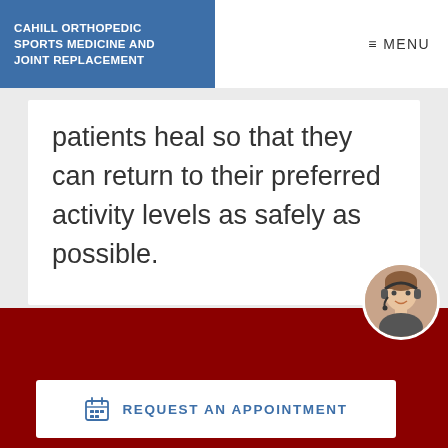CAHILL ORTHOPEDIC SPORTS MEDICINE AND JOINT REPLACEMENT
patients heal so that they can return to their preferred activity levels as safely as possible.
REQUEST AN APPOINTMENT